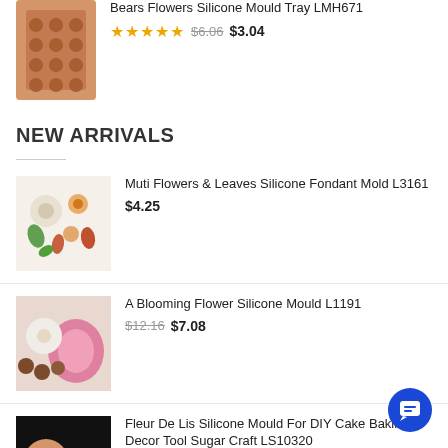[Figure (photo): Chocolate bear flowers silicone mould tray product image]
Bears Flowers Silicone Mould Tray LMH671
★★★★★ $6.06  $3.04
NEW ARRIVALS
[Figure (photo): Muti flowers and leaves silicone fondant mold product image]
Muti Flowers & Leaves Silicone Fondant Mold L3161
$4.25
[Figure (photo): A blooming flower silicone mould product image, pink mould]
A Blooming Flower Silicone Mould L1191
$12.16  $7.08
[Figure (photo): Fleur De Lis silicone mould product image, dark background]
Fleur De Lis Silicone Mould For DIY Cake Baking Decor Tool Sugar Craft LS10320
★★★★★ $8.11  $5.40
[Figure (photo): 6 Cavities Halloween Lantern Pumpkin Silicone Pan product image, loading spinner]
6 Cavities Halloween Lantern Pumpkin Silicone Pan Cake Muffin Baking Tray Mould L2012